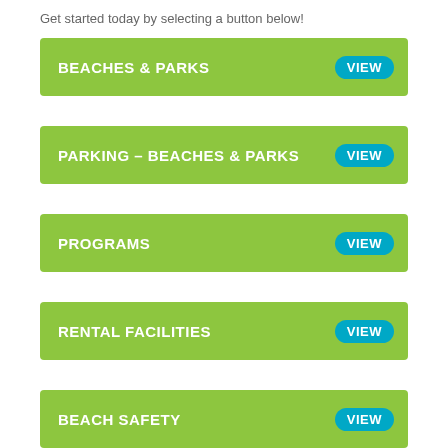Get started today by selecting a button below!
BEACHES & PARKS — VIEW
PARKING – BEACHES & PARKS — VIEW
PROGRAMS — VIEW
RENTAL FACILITIES — VIEW
BEACH SAFETY — VIEW